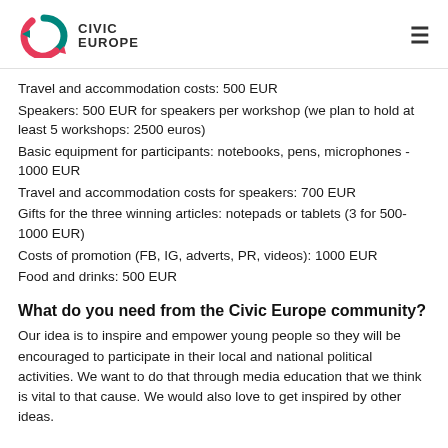CIVIC EUROPE
Travel and accommodation costs: 500 EUR
Speakers: 500 EUR for speakers per workshop (we plan to hold at least 5 workshops: 2500 euros)
Basic equipment for participants: notebooks, pens, microphones - 1000 EUR
Travel and accommodation costs for speakers: 700 EUR
Gifts for the three winning articles: notepads or tablets (3 for 500-1000 EUR)
Costs of promotion (FB, IG, adverts, PR, videos): 1000 EUR
Food and drinks: 500 EUR
What do you need from the Civic Europe community?
Our idea is to inspire and empower young people so they will be encouraged to participate in their local and national political activities. We want to do that through media education that we think is vital to that cause. We would also love to get inspired by other ideas.